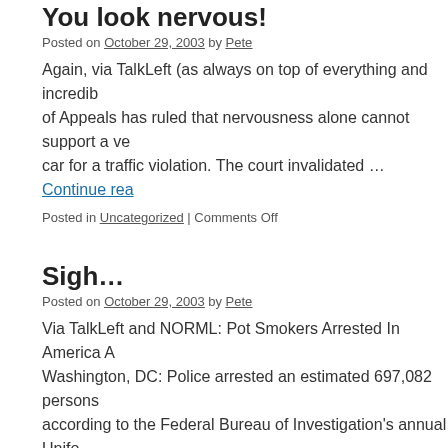You look nervous!
Posted on October 29, 2003 by Pete
Again, via TalkLeft (as always on top of everything and incredibly well-informed): The 9th Court of Appeals has ruled that nervousness alone cannot support a vehicle search when stopping a car for a traffic violation. The court invalidated … Continue reading
Posted in Uncategorized | Comments Off
Sigh…
Posted on October 29, 2003 by Pete
Via TalkLeft and NORML: Pot Smokers Arrested In America At Record Pace Washington, DC: Police arrested an estimated 697,082 persons for marijuana violations in 2002, according to the Federal Bureau of Investigation's annual Unifo
Posted in Uncategorized | Comments Off
What are they smoking?
Posted on October 29, 2003 by Pete